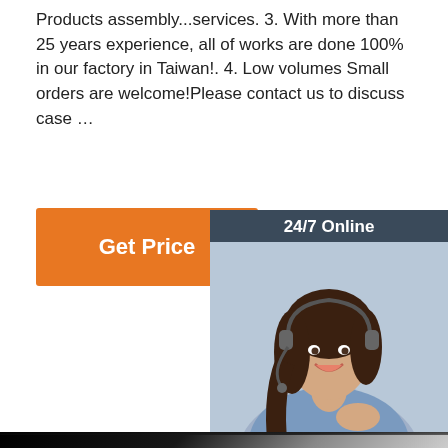Products assembly...services. 3. With more than 25 years experience, all of works are done 100% in our factory in Taiwan!. 4. Low volumes Small orders are welcome!Please contact us to discuss case …
[Figure (other): Orange 'Get Price' button]
[Figure (other): Chat widget with '24/7 Online' header, photo of female customer service agent with headset, 'Click here for free chat!' text, and orange 'QUOTATION' button]
[Figure (photo): Close-up photo of white plastic pellets/granules spilling from a dark bowl on a black background, with 'TOP' logo in bottom right corner]